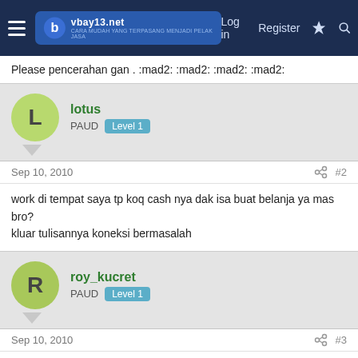Navigation bar with logo and login/register links
Please pencerahan gan . :mad2: :mad2: :mad2: :mad2:
lotus
PAUD Level 1
Sep 10, 2010  #2
work di tempat saya tp koq cash nya dak isa buat belanja ya mas bro?
kluar tulisannya koneksi bermasalah
roy_kucret
PAUD Level 1
Sep 10, 2010  #3
mohon pencerahan kk maklum msh newbie...
ane coba brp x lum bisa...